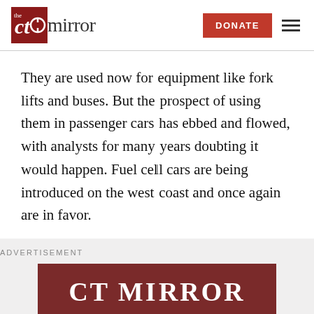[Figure (logo): CT Mirror logo with red icon and 'mirror' text]
They are used now for equipment like fork lifts and buses. But the prospect of using them in passenger cars has ebbed and flowed, with analysts for many years doubting it would happen. Fuel cell cars are being introduced on the west coast and once again are in favor.
[Figure (other): Advertisement banner with dark red background showing 'CT MIRROR' text]